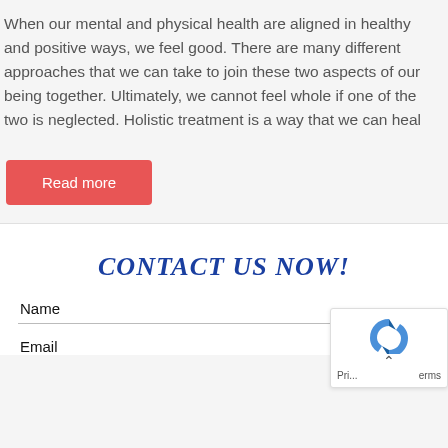When our mental and physical health are aligned in healthy and positive ways, we feel good. There are many different approaches that we can take to join these two aspects of our being together. Ultimately, we cannot feel whole if one of the two is neglected. Holistic treatment is a way that we can heal
Read more
CONTACT US NOW!
Name
Email